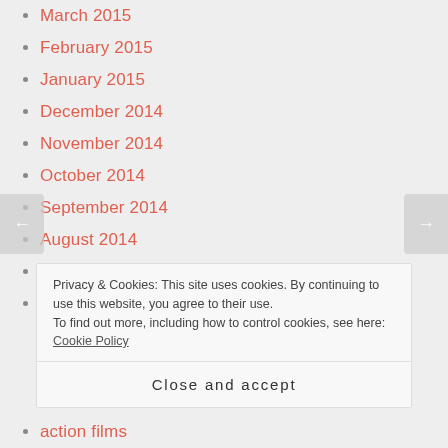March 2015
February 2015
January 2015
December 2014
November 2014
October 2014
September 2014
August 2014
July 2014
May 2014
Privacy & Cookies: This site uses cookies. By continuing to use this website, you agree to their use.
To find out more, including how to control cookies, see here: Cookie Policy
Close and accept
action films